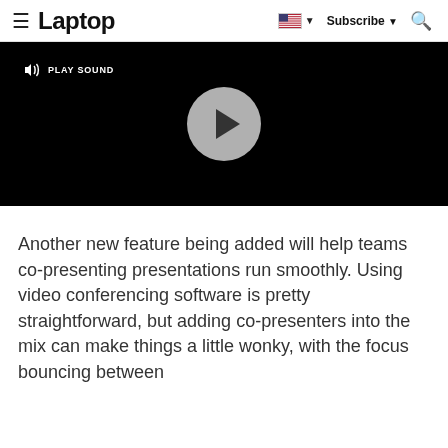Laptop — Subscribe
[Figure (screenshot): Video player with black background, a gray circular play button in the center, and a 'PLAY SOUND' button with speaker icon in the top-left corner.]
Another new feature being added will help teams co-presenting presentations run smoothly. Using video conferencing software is pretty straightforward, but adding co-presenters into the mix can make things a little wonky, with the focus bouncing between